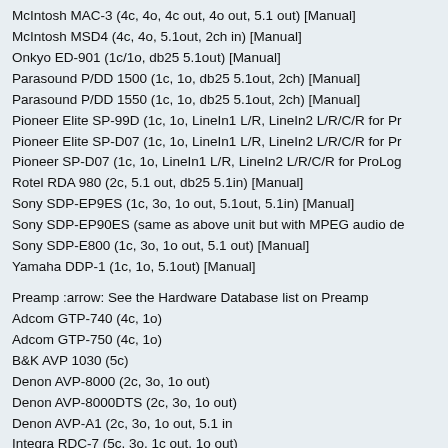McIntosh MAC-3 (4c, 4o, 4c out, 4o out, 5.1 out) [Manual]
McIntosh MSD4 (4c, 4o, 5.1out, 2ch in) [Manual]
Onkyo ED-901 (1c/1o, db25 5.1out) [Manual]
Parasound P/DD 1500 (1c, 1o, db25 5.1out, 2ch) [Manual]
Parasound P/DD 1550 (1c, 1o, db25 5.1out, 2ch) [Manual]
Pioneer Elite SP-99D (1c, 1o, LineIn1 L/R, LineIn2 L/R/C/R for Pr…
Pioneer Elite SP-D07 (1c, 1o, LineIn1 L/R, LineIn2 L/R/C/R for Pr…
Pioneer SP-D07 (1c, 1o, LineIn1 L/R, LineIn2 L/R/C/R for ProLog…
Rotel RDA 980 (2c, 5.1 out, db25 5.1in) [Manual]
Sony SDP-EP9ES (1c, 3o, 1o out, 5.1out, 5.1in) [Manual]
Sony SDP-EP90ES (same as above unit but with MPEG audio de…
Sony SDP-E800 (1c, 3o, 1o out, 5.1 out) [Manual]
Yamaha DDP-1 (1c, 1o, 5.1out) [Manual]
Preamp :arrow: See the Hardware Database list on Preamp
Adcom GTP-740 (4c, 1o)
Adcom GTP-750 (4c, 1o)
B&K AVP 1030 (5c)
Denon AVP-8000 (2c, 3o, 1o out)
Denon AVP-8000DTS (2c, 3o, 1o out)
Denon AVP-A1 (2c, 3o, 1o out, 5.1 in
Integra RDC-7 (5c, 3o, 1c out, 1o out)
Kenwood KC-Z1 (4o, 4o, 1c out, 1o out)
Krell Audio+Video Standard
Marantz AV-550 (1c, 1o)